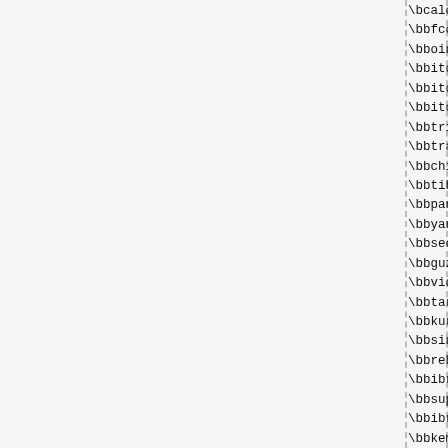\bcalculate-linux\.org\b
\bbfcoffgeorgebush-yu\.blogspot\.com\b
\bboinakarin\.com\b
\bbitourschina\.com\b
\bbitourbeijing\.com\b
\bbitourstibet\.com\b
\bbtripbus\.com\b
\bbtraveltibettours\.com\b
\bbchinayak\.com\b
\bbtibetinchina\.com\b
\bbpanda-tour\.net\b
\bbyangtzeriver-cruise\.net\b
\bbseoloji\.org\b
\bbguzelcekoyu\.org\b
\bbvidovix\.com\b
\bbtarzoyun\.com\b
\bbkurbaga\.net\b
\bbsinematik\.org\b
\bbrehberblog\.com\b
\bbibrahimari\.net\b
\bbsuperoyunx\.com\b
\bbibrahimerdogan\.com\b
\bbkemalist-iz\.com\b
\bbara-bux\.com\b
\bbcaracal-pistol\.info\b
\bbhost\.co\.in\b
\bbfrancizor\.ro\b
\bbchannelf\.ro\b
\bbexploremychina\.com\b
\bbhuntforjustice\.com\b
\bbenergie\.numeriblog\.fr\b
\bbstaderennais1901\.com\b
\bbnig\.gr\b
\bbnike(?:888|888\.en\.ec21|xyz)\.com\b
\bbnike-jordan-shoes\.com\b
\bbbshoesprovision\.com\b
\bbbglobaltrademarket\.org\b
\bbbwmsg-draughts\.org\b
\bbbwikio\.com\b
\bbbfootball-talents\.(?:Sizar|fnlac)\.uk)\b